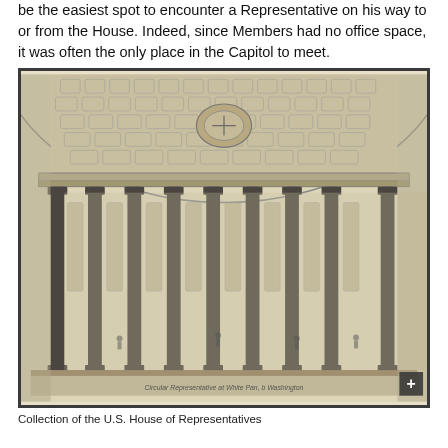be the easiest spot to encounter a Representative on his way to or from the House. Indeed, since Members had no office space, it was often the only place in the Capitol to meet.
[Figure (photo): Historical engraving or illustration of the interior of the U.S. Capitol Rotunda, showing tall classical columns in a row, an ornate domed ceiling with decorative coffers and a central oculus, and figures visible in the background. The image is rendered in black-and-white with a caption in small text reading 'Circular Representative at White Pan, b Washington'. A '+' zoom button appears in the lower right corner.]
Collection of the U.S. House of Representatives